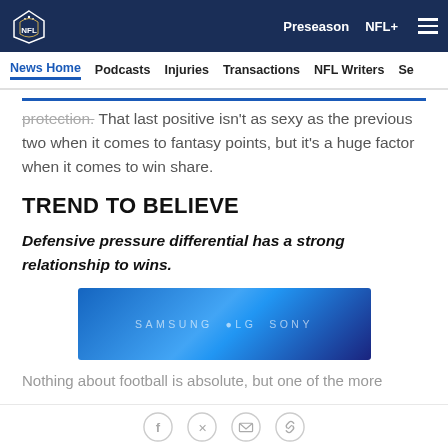NFL | Preseason NFL+
News Home  Podcasts  Injuries  Transactions  NFL Writers  Se
protection. That last positive isn't as sexy as the previous two when it comes to fantasy points, but it's a huge factor when it comes to win share.
TREND TO BELIEVE
Defensive pressure differential has a strong relationship to wins.
[Figure (other): Advertisement banner with Samsung LG Sony branding on a blue gradient background]
Nothing about football is absolute, but one of the more
Social share icons: Facebook, Twitter, Email, Link